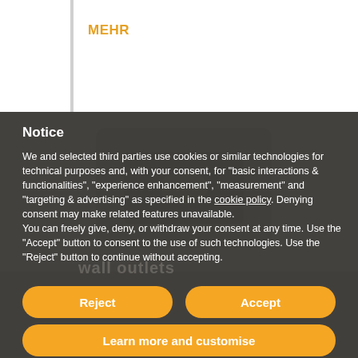MEHR
Notice
We and selected third parties use cookies or similar technologies for technical purposes and, with your consent, for “basic interactions & functionalities”, “experience enhancement”, “measurement” and “targeting & advertising” as specified in the cookie policy. Denying consent may make related features unavailable.
You can freely give, deny, or withdraw your consent at any time. Use the “Accept” button to consent to the use of such technologies. Use the “Reject” button to continue without accepting.
[Figure (screenshot): Background image of a dark device/phone on a surface, partially visible behind a semi-transparent grey overlay containing a cookie consent notice]
Reject
Accept
Learn more and customise